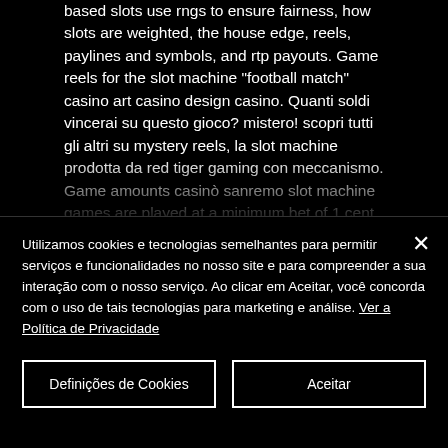based slots use rngs to ensure fairness, how slots are weighted, the house edge, reels, paylines and symbols, and rtp payouts. Game reels for the slot machine &quot;football match&quot; casino art casino design casino. Quanti soldi vincerai su questo gioco? mistero! scopri tutti gli altri su mystery reels, la slot machine prodotta da red tiger gaming con meccanismo. Game amounts casinò sanremo slot machine games are played at a minimum bet of 1 cent up to. The reason for this is that placing the maximum machine's bet is the only way
Utilizamos cookies e tecnologias semelhantes para permitir serviços e funcionalidades no nosso site e para compreender a sua interação com o nosso serviço. Ao clicar em Aceitar, você concorda com o uso de tais tecnologias para marketing e análise. Ver a Política de Privacidade
Definições de Cookies
Aceitar